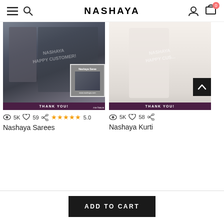NASHAYA
[Figure (photo): Photo of couple wearing Indian ethnic wear — man in grey kurta, woman in dark blue/grey printed saree. Watermark: NASHAYA HAPPY CUSTOMER! Thank you bar at bottom. Small inset thumbnail of saree product.]
👁 5K  ♡ 59  ↗  ★★★★★ 5.0
Nashaya Sarees
[Figure (photo): Photo of woman wearing white kurti/salwar suit set. Watermark: NASHAYA HAPPY CUSTOMER! Thank you bar at bottom. Scroll-to-top button overlay.]
👁 5K  ♡ 58  ↗
Nashaya Kurti
ADD TO CART